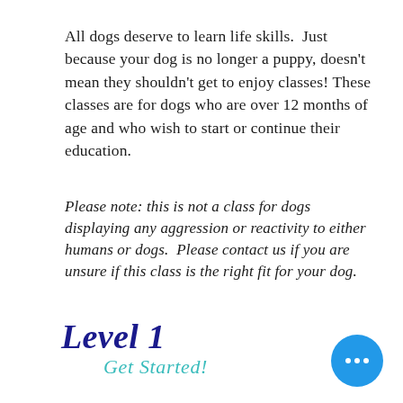All dogs deserve to learn life skills. Just because your dog is no longer a puppy, doesn't mean they shouldn't get to enjoy classes! These classes are for dogs who are over 12 months of age and who wish to start or continue their education.
Please note: this is not a class for dogs displaying any aggression or reactivity to either humans or dogs. Please contact us if you are unsure if this class is the right fit for your dog.
Level 1
Get Started!